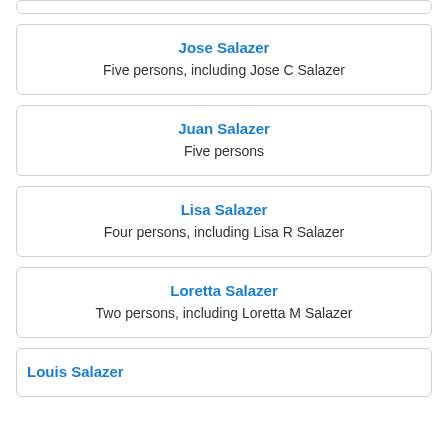Jose Salazer — Five persons, including Jose C Salazer
Juan Salazer — Five persons
Lisa Salazer — Four persons, including Lisa R Salazer
Loretta Salazer — Two persons, including Loretta M Salazer
Louis Salazer